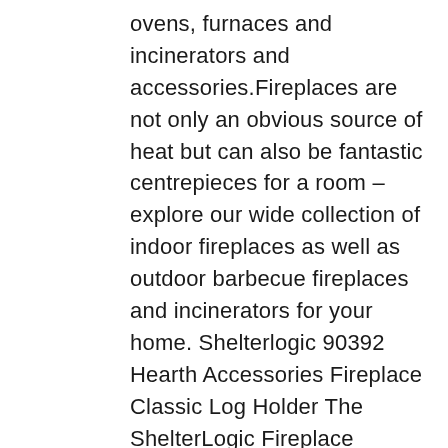ovens, furnaces and incinerators and accessories.Fireplaces are not only an obvious source of heat but can also be fantastic centrepieces for a room – explore our wide collection of indoor fireplaces as well as outdoor barbecue fireplaces and incinerators for your home. Shelterlogic 90392 Hearth Accessories Fireplace Classic Log Holder The ShelterLogic Fireplace Classic Log Holder is both functional and stylish with an attractive, decorative-edged design. Customers also bought Recommended for you price CDN$ 29.